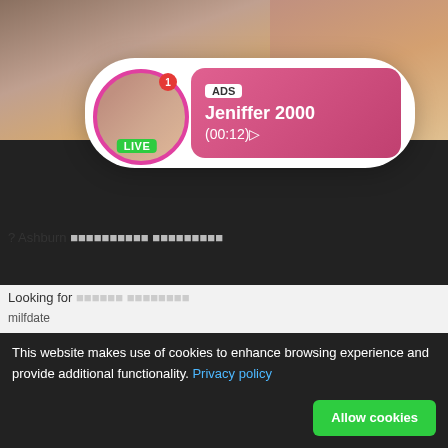[Figure (screenshot): Adult website screenshot background showing video thumbnails]
[Figure (infographic): Ad popup 1: Live user Jeniffer 2000, ADS label, time (00:12), LIVE badge, notification dot]
? Ashburn
Looking for
milfdate
[Figure (infographic): Ad popup 2: Live user Angel, ADS label, Angel is typing ... (1) unread message, LIVE badge]
[Figure (screenshot): Video grid bottom row with BRAZZERS and GirlsOutWe watermarks]
This website makes use of cookies to enhance browsing experience and provide additional functionality. Privacy policy
Allow cookies